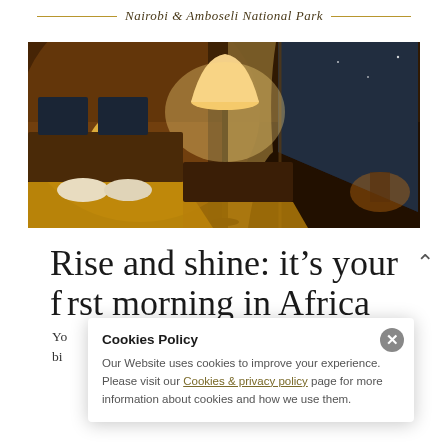Nairobi & Amboseli National Park
[Figure (photo): Warmly lit luxury safari tent interior at dusk showing two beds with white pillows, a tall floor lamp glowing amber, and a triangular open canvas flap revealing a darkening landscape outside]
Rise and shine: it's your first morning in Africa
Yo... r bi...
Cookies Policy
Our Website uses cookies to improve your experience. Please visit our Cookies & privacy policy page for more information about cookies and how we use them.